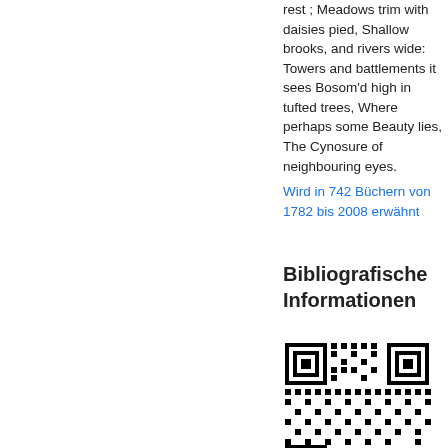rest ; Meadows trim with daisies pied, Shallow brooks, and rivers wide: Towers and battlements it sees Bosom'd high in tufted trees, Where perhaps some Beauty lies, The Cynosure of neighbouring eyes.
Wird in 742 Büchern von 1782 bis 2008 erwähnt
Bibliografische Informationen
[Figure (other): QR code for bibliographic information]